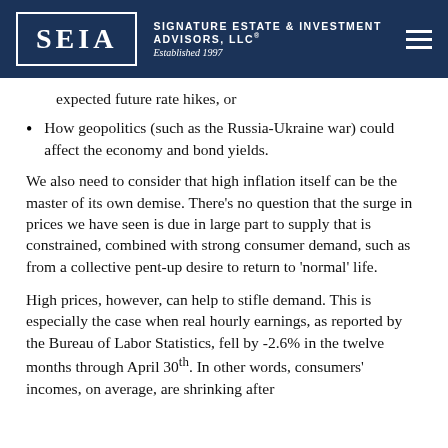SEIA | Signature Estate & Investment Advisors, LLC® Established 1997
expected future rate hikes, or
How geopolitics (such as the Russia-Ukraine war) could affect the economy and bond yields.
We also need to consider that high inflation itself can be the master of its own demise. There's no question that the surge in prices we have seen is due in large part to supply that is constrained, combined with strong consumer demand, such as from a collective pent-up desire to return to 'normal' life.
High prices, however, can help to stifle demand. This is especially the case when real hourly earnings, as reported by the Bureau of Labor Statistics, fell by -2.6% in the twelve months through April 30th. In other words, consumers' incomes, on average, are shrinking after